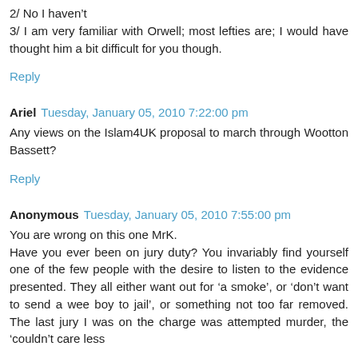2/ No I haven't
3/ I am very familiar with Orwell; most lefties are; I would have thought him a bit difficult for you though.
Reply
Ariel  Tuesday, January 05, 2010 7:22:00 pm
Any views on the Islam4UK proposal to march through Wootton Bassett?
Reply
Anonymous  Tuesday, January 05, 2010 7:55:00 pm
You are wrong on this one MrK.
Have you ever been on jury duty? You invariably find yourself one of the few people with the desire to listen to the evidence presented. They all either want out for 'a smoke', or 'don't want to send a wee boy to jail', or something not too far removed. The last jury I was on the charge was attempted murder, the 'couldn't care less